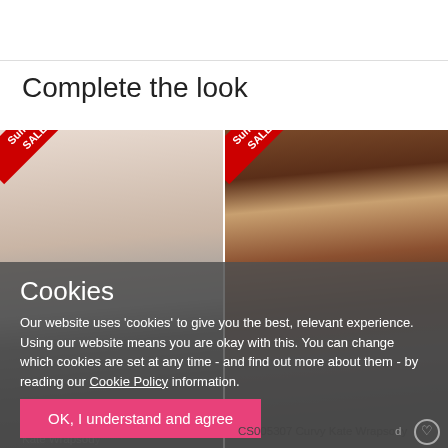Complete the look
[Figure (photo): Two product photos side by side with Summer SALE red ribbons in top-left corners. Left: woman's torso in black bikini bottoms. Right: curvy woman with curly hair in black bra.]
Cookies
Our website uses 'cookies' to give you the best, relevant experience. Using our website means you are okay with this. You can change which cookies are set at any time - and find out more about them - by reading our Cookie Policy information.
OK, I understand and agree
CS005307 Curvy Kate Wrapsody